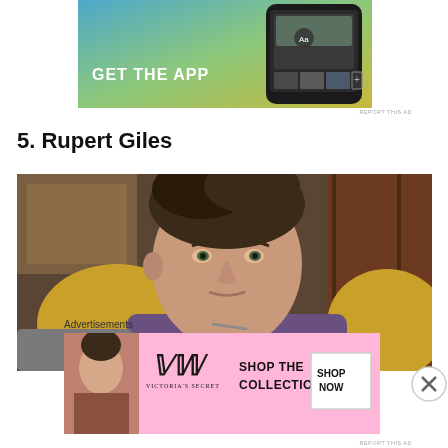[Figure (screenshot): Top advertisement banner showing 'GET THE APP' text with phone mockup on gradient blue-green-yellow background]
REPORT THIS AD
5. Rupert Giles
[Figure (photo): Photo of actor Anthony Stewart Head as Rupert Giles, sitting in front of wooden furniture with a yellow chair, wearing a purple/dark blue sweater]
Advertisements
[Figure (screenshot): Victoria's Secret advertisement banner with pink background showing a woman, VS logo, 'SHOP THE COLLECTION' text, and 'SHOP NOW' button]
REPORT THIS AD